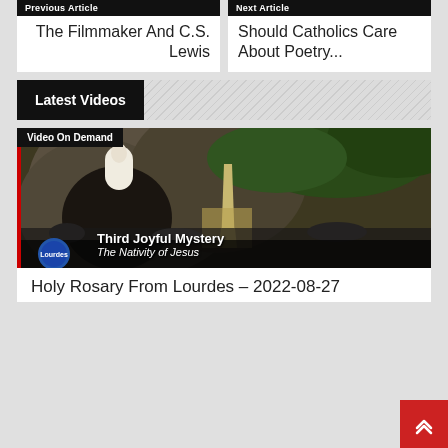Previous Article
Next Article
The Filmmaker And C.S. Lewis
Should Catholics Care About Poetry...
Latest Videos
[Figure (photo): Video thumbnail showing the Lourdes grotto with a statue of the Virgin Mary, pilgrims gathered below. Lower third shows Lourdes logo, 'Third Joyful Mystery', and subtitle 'The Nativity of Jesus'. A red bar is on the left edge.]
Video On Demand
Holy Rosary From Lourdes – 2022-08-27